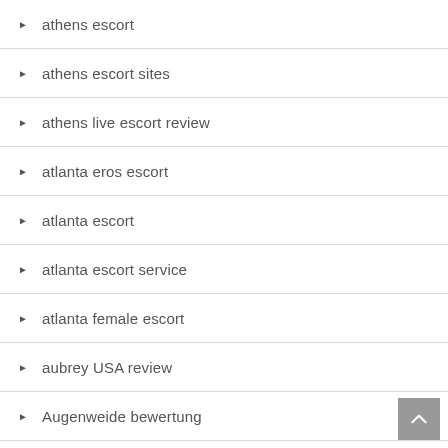athens escort
athens escort sites
athens live escort review
atlanta eros escort
atlanta escort
atlanta escort service
atlanta female escort
aubrey USA review
Augenweide bewertung